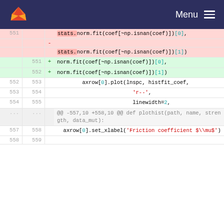Menu
551  stats.norm.fit(coef[~np.isnan(coef)])[0],
     -
     stats.norm.fit(coef[~np.isnan(coef)])[1])
551 + norm.fit(coef[~np.isnan(coef)])[0],
552 + norm.fit(coef[~np.isnan(coef)])[1])
552  553      axrow[0].plot(lnspc, histfit_coef,
553  554                          'r--',
554  555                          linewidth=2,
@@ -557,10 +558,10 @@ def plothist(path, name, strength, data_mut):
557  558   axrow[0].set_xlabel('Friction coefficient $\mu$')
558  559